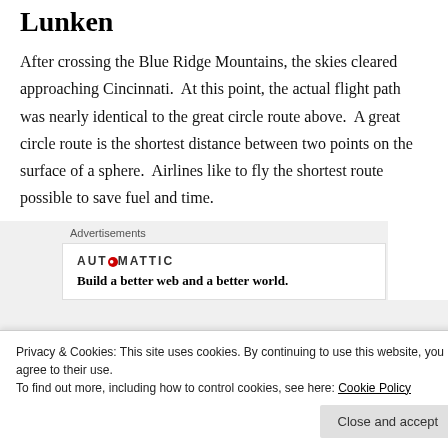Lunken
After crossing the Blue Ridge Mountains, the skies cleared approaching Cincinnati.  At this point, the actual flight path was nearly identical to the great circle route above.  A great circle route is the shortest distance between two points on the surface of a sphere.  Airlines like to fly the shortest route possible to save fuel and time.
Advertisements
AUTOMATTIC
Build a better web and a better world.
Privacy & Cookies: This site uses cookies. By continuing to use this website, you agree to their use.
To find out more, including how to control cookies, see here: Cookie Policy
Close and accept